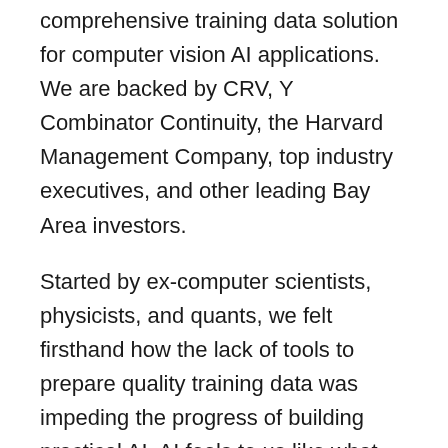comprehensive training data solution for computer vision AI applications. We are backed by CRV, Y Combinator Continuity, the Harvard Management Company, top industry executives, and other leading Bay Area investors.
Started by ex-computer scientists, physicists, and quants, we felt firsthand how the lack of tools to prepare quality training data was impeding the progress of building practical AI. AI feels to us like what the early days of computing or the internet must have felt like, where the potential of the technology is clear, but the tools and processes surrounding it are terrible. We have devised a unique methodology for automating the tasks related to preparing quality training data, in effect turning the training data problem into a data science problem.